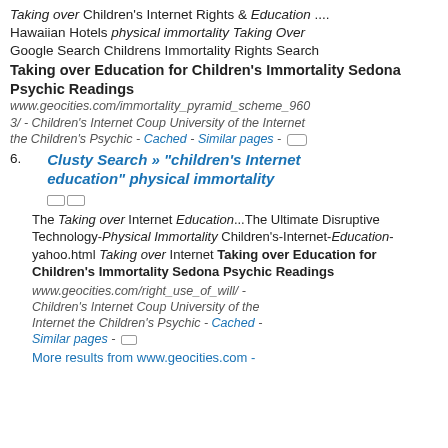Taking over Children's Internet Rights & Education .... Hawaiian Hotels physical immortality Taking Over Google Search Childrens Immortality Rights Search
Taking over Education for Children's Immortality Sedona Psychic Readings
www.geocities.com/immortality_pyramid_scheme_9603/ - Children's Internet Coup University of the Internet the Children's Psychic - Cached - Similar pages -
6. Clusty Search » "children's Internet education" physical immortality
The Taking over Internet Education...The Ultimate Disruptive Technology-Physical Immortality Children's-Internet-Education-yahoo.html Taking over Internet Taking over Education for Children's Immortality Sedona Psychic Readings
www.geocities.com/right_use_of_will/ - Children's Internet Coup University of the Internet the Children's Psychic - Cached - Similar pages -
More results from www.geocities.com -